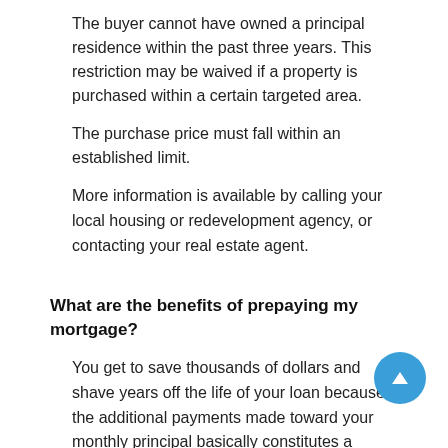The buyer cannot have owned a principal residence within the past three years. This restriction may be waived if a property is purchased within a certain targeted area.
The purchase price must fall within an established limit.
More information is available by calling your local housing or redevelopment agency, or contacting your real estate agent.
What are the benefits of prepaying my mortgage?
You get to save thousands of dollars and shave years off the life of your loan because the additional payments made toward your monthly principal basically constitutes a partial prepayment of your mortgage.
Each mortgage has specific terms describing how and